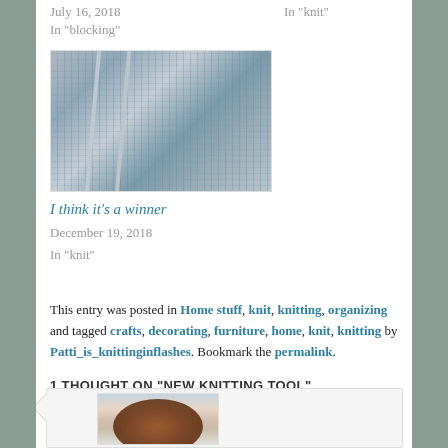July 16, 2018
In "blocking"
In "knit"
[Figure (photo): Close-up photo of gray knitting in progress on needles]
I think it's a winner
December 19, 2018
In "knit"
This entry was posted in Home stuff, knit, knitting, organizing and tagged crafts, decorating, furniture, home, knit, knitting by Patti_is_knittinginflashes. Bookmark the permalink.
1 THOUGHT ON "NEW KNITTING TOOL"
[Figure (photo): Portrait photo of a woman with curly brown hair]